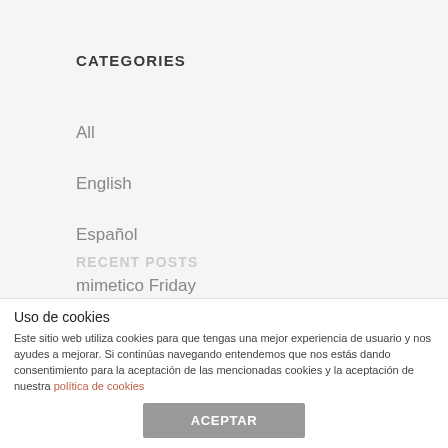CATEGORIES
All
English
Español
mimetico Friday
News
Uso de cookies
Este sitio web utiliza cookies para que tengas una mejor experiencia de usuario y nos ayudes a mejorar. Si continúas navegando entendemos que nos estás dando consentimiento para la aceptación de las mencionadas cookies y la aceptación de nuestra política de cookies
ACEPTAR